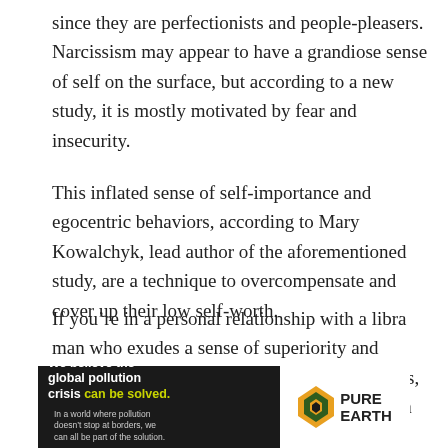since they are perfectionists and people-pleasers. Narcissism may appear to have a grandiose sense of self on the surface, but according to a new study, it is mostly motivated by fear and insecurity.
This inflated sense of self-importance and egocentric behaviors, according to Mary Kowalchyk, lead author of the aforementioned study, are a technique to overcompensate and cover up their low self-worth.
If you’re in a personal relationship with a libra man who exudes a sense of superiority and you’re having trouble understanding his actions, it’s critical to see the scared young boy beneath the egocentric exterior.
[Figure (other): Advertisement banner for Pure Earth: black background on left with text 'We believe the global pollution crisis can be solved.' and subtext 'In a world where pollution doesn’t stop at borders, we can all be part of the solution. JOIN US.' White background on right with Pure Earth logo (diamond/chevron shape in orange and green) and 'PURE EARTH' text.]